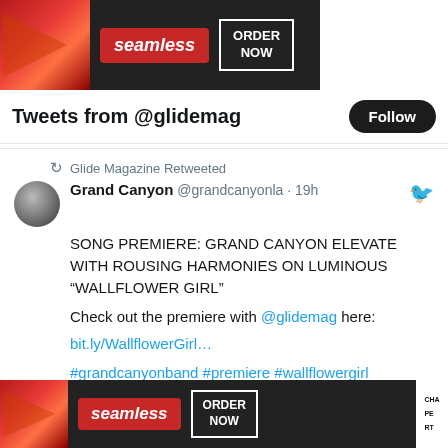[Figure (photo): Seamless food delivery advertisement banner with pizza image, Seamless logo in red, and ORDER NOW button]
Tweets from @glidemag
Glide Magazine Retweeted
Grand Canyon @grandcanyonla · 19h
SONG PREMIERE: GRAND CANYON ELEVATE WITH ROUSING HARMONIES ON LUMINOUS “WALLFLOWER GIRL”

Check out the premiere with @glidemag here: bit.ly/WallflowerGirl…

#grandcanyonband #premiere #wallflowergirl
[Figure (photo): Concert photo of performer on stage with arms raised, dark background with bar/venue text DRAFTS, CANS visible]
[Figure (photo): Seamless food delivery advertisement banner at bottom with pizza image, Seamless logo in red, and ORDER NOW button]